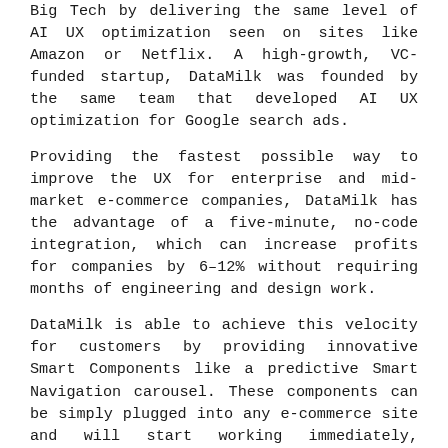Big Tech by delivering the same level of AI UX optimization seen on sites like Amazon or Netflix. A high-growth, VC-funded startup, DataMilk was founded by the same team that developed AI UX optimization for Google search ads.
Providing the fastest possible way to improve the UX for enterprise and mid-market e-commerce companies, DataMilk has the advantage of a five-minute, no-code integration, which can increase profits for companies by 6–12% without requiring months of engineering and design work.
DataMilk is able to achieve this velocity for customers by providing innovative Smart Components like a predictive Smart Navigation carousel. These components can be simply plugged into any e-commerce site and will start working immediately, showing ROI in real-time via a client dashboard. Components are powered by DataMilk's sophisticated ranking models and data engineering, capable of conducting thousands of simultaneous A/B tests to optimize the UX for CTR, AOV, and more.